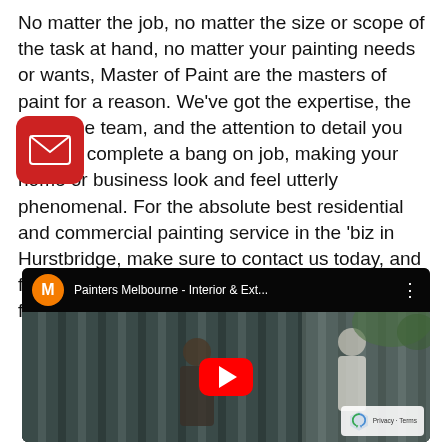No matter the job, no matter the size or scope of the task at hand, no matter your painting needs or wants, Master of Paint are the masters of paint for a reason. We've got the expertise, the tools, the team, and the attention to detail you need to complete a bang on job, making your home or business look and feel utterly phenomenal. For the absolute best residential and commercial painting service in the 'biz in Hurstbridge, make sure to contact us today, and find out why Master of Paint is the best choice for painting in your suburb.
[Figure (screenshot): YouTube video embed showing 'Painters Melbourne - Interior & Ext...' with a channel avatar showing M on orange background, a red play button overlay, and an outdoor scene with two painters working near a corrugated metal fence. A reCAPTCHA badge is visible in the bottom right corner.]